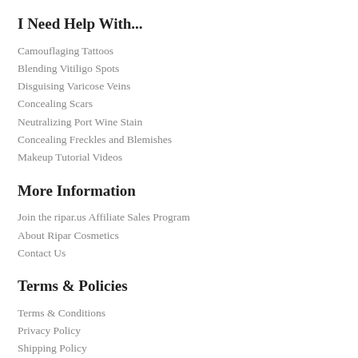I Need Help With...
Camouflaging Tattoos
Blending Vitiligo Spots
Disguising Varicose Veins
Concealing Scars
Neutralizing Port Wine Stain
Concealing Freckles and Blemishes
Makeup Tutorial Videos
More Information
Join the ripar.us Affiliate Sales Program
About Ripar Cosmetics
Contact Us
Terms & Policies
Terms & Conditions
Privacy Policy
Shipping Policy
Return & Refund Policy